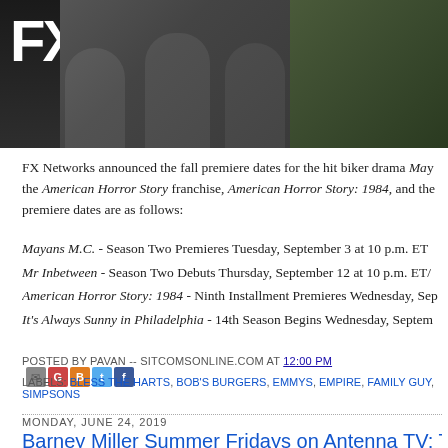[Figure (photo): FX Network logo top-left with show cast photo — men in casual clothing at a bar setting, dark background]
FX Networks announced the fall premiere dates for the hit biker drama Ma[yans M.C.], the American Horror Story franchise, American Horror Story: 1984, and the[ir] premiere dates are as follows:
Mayans M.C. - Season Two Premieres Tuesday, September 3 at 10 p.m. ET[/PT on FX]
Mr Inbetween - Season Two Debuts Thursday, September 12 at 10 p.m. ET/[PT on FX]
American Horror Story: 1984 - Ninth Installment Premieres Wednesday, Sep[tember 18]
It's Always Sunny in Philadelphia - 14th Season Begins Wednesday, Septem[ber 25]
POSTED BY PAVAN -- SITCOMSONLINE.COM AT 12:00 PM
LABELS: BLESS THE HARTS, BOB'S BURGERS, EMMYS, EMPIRE, FAMILY GUY, SIMPSONS
MONDAY, JUNE 24, 2019
Barney Miller Summer Fridays on Antenna TV; Tyler Pe[rry...]
[Figure (photo): Bottom portion of a cast/show photo, partially visible, two people visible]